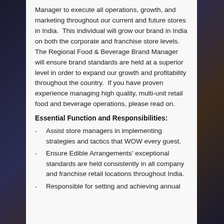Manager to execute all operations, growth, and marketing throughout our current and future stores in India.  This individual will grow our brand in India on both the corporate and franchise store levels.  The Regional Food & Beverage Brand Manager will ensure brand standards are held at a superior level in order to expand our growth and profitability throughout the country.  If you have proven experience managing high quality, multi-unit retail food and beverage operations, please read on.
Essential Function and Responsibilities:
Assist store managers in implementing strategies and tactics that WOW every guest.
Ensure Edible Arrangements' exceptional standards are held consistently in all company and franchise retail locations throughout India.
Responsible for setting and achieving annual